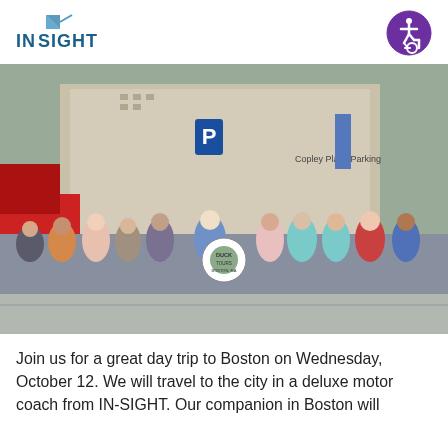INSIGHT
[Figure (photo): Group photo of approximately 30 people standing outdoors in Boston near Copley Place Parking garage. One person in the center holds a life preserver ring reading 'DUCK TOURS BOSTON, MA'. There is a red vehicle on the left and city buildings in the background.]
Join us for a great day trip to Boston on Wednesday, October 12. We will travel to the city in a deluxe motor coach from IN-SIGHT. Our companion in Boston will